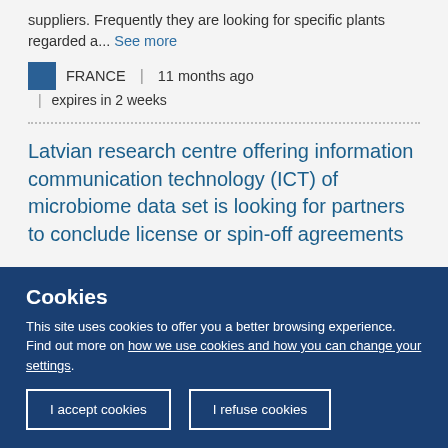suppliers. Frequently they are looking for specific plants regarded a... See more
FRANCE | 11 months ago | expires in 2 weeks
Latvian research centre offering information communication technology (ICT) of microbiome data set is looking for partners to conclude license or spin-off agreements
Cookies
This site uses cookies to offer you a better browsing experience. Find out more on how we use cookies and how you can change your settings.
I accept cookies | I refuse cookies